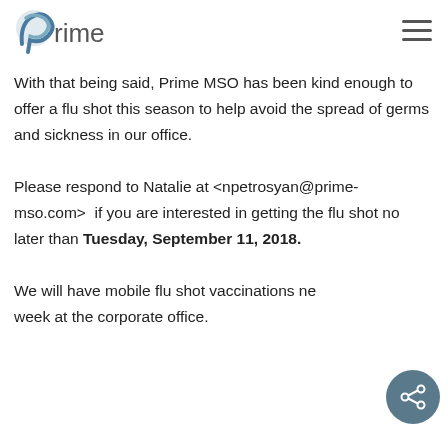Prime MSO logo and navigation
With that being said, Prime MSO has been kind enough to offer a flu shot this season to help avoid the spread of germs and sickness in our office.

Please respond to Natalie at <npetrosyan@prime-mso.com> if you are interested in getting the flu shot no later than Tuesday, September 11, 2018.

We will have mobile flu shot vaccinations next week at the corporate office.